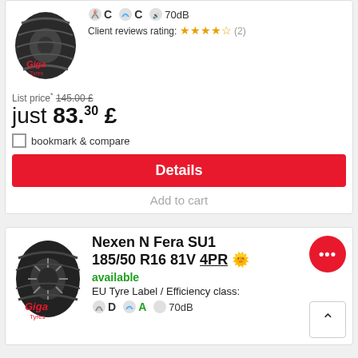List price* 145.00 £
just 83.30 £
bookmark & compare
Details
Add to cart
Nexen N Fera SU1 185/50 R16 81V 4PR
available
EU Tyre Label / Efficiency class:
D  A  70dB